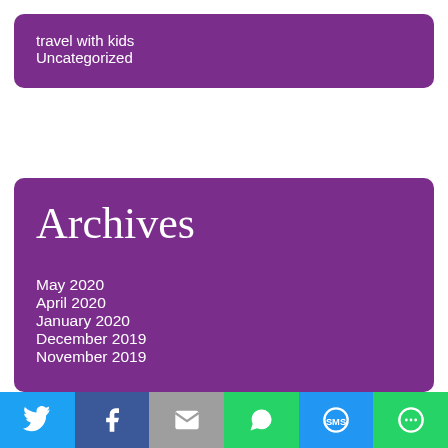travel with kids
Uncategorized
Archives
May 2020
April 2020
January 2020
December 2019
November 2019